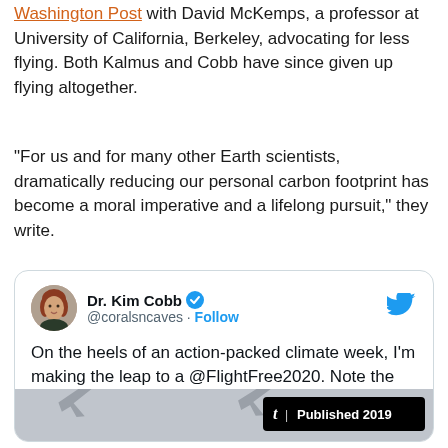Washington Post with David McKemps, a professor at University of California, Berkeley, advocating for less flying. Both Kalmus and Cobb have since given up flying altogether.
“For us and for many other Earth scientists, dramatically reducing our personal carbon footprint has become a moral imperative and a lifelong pursuit,” they write.
[Figure (screenshot): Tweet from Dr. Kim Cobb (@coralsncaves) with a blue verified checkmark and Follow button. Tweet text: On the heels of an action-packed climate week, I’m making the leap to a @FlightFree2020. Note the lack of flight shaming. But please do digest the latest data. 👇 The tweet includes a preview image with a NYT Published 2019 badge showing airplane silhouettes.]